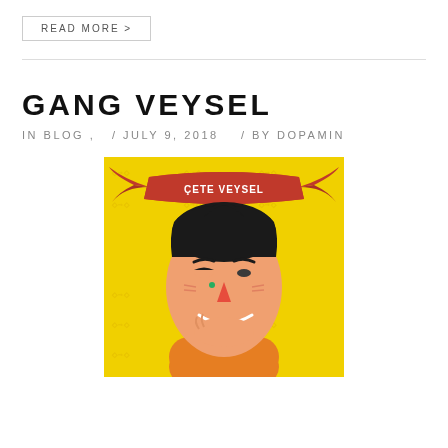READ MORE >
GANG VEYSEL
IN BLOG ,  / JULY 9, 2018  / BY DOPAMIN
[Figure (illustration): Cartoon illustration of a man with black hair, a red banner above reading 'ÇETE VEYSEL', on a yellow patterned background. The man has a green dot on his cheek and is smiling.]